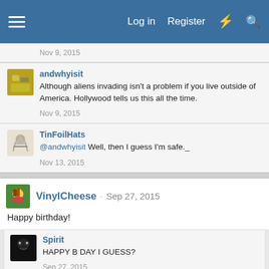Log in  Register
Nov 9, 2015
andwhyisit
Although aliens invading isn't a problem if you live outside of America. Hollywood tells us this all the time.
Nov 9, 2015
TinFoilHats
@andwhyisit Well, then I guess I'm safe._
Nov 13, 2015
VinylCheese · Sep 27, 2015
Happy birthday!
Spirit
HAPPY B DAY I GUESS?
Sep 27, 2015